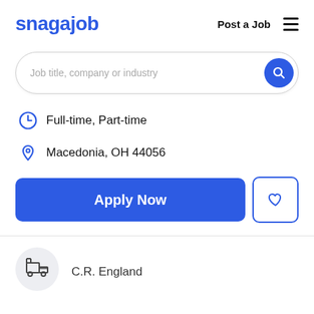snagajob   Post a Job  ☰
Job title, company or industry
Full-time, Part-time
Macedonia, OH 44056
Apply Now
C.R. England